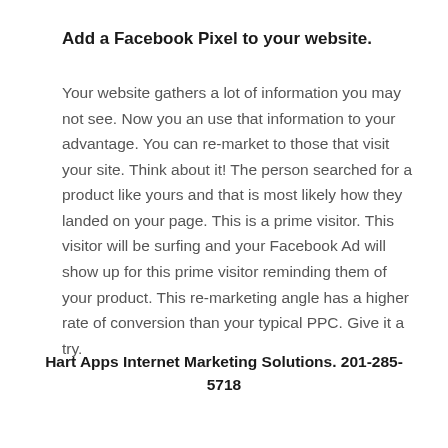Add a Facebook Pixel to your website.
Your website gathers a lot of information you may not see. Now you an use that information to your advantage. You can re-market to those that visit your site. Think about it! The person searched for a product like yours and that is most likely how they landed on your page. This is a prime visitor. This visitor will be surfing and your Facebook Ad will show up for this prime visitor reminding them of your product. This re-marketing angle has a higher rate of conversion than your typical PPC. Give it a try.
Hart Apps Internet Marketing Solutions. 201-285-5718